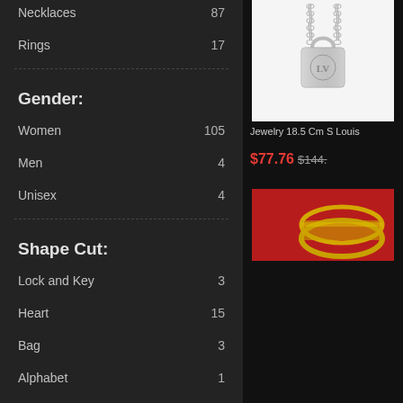Necklaces  87
Rings  17
Gender:
Women  105
Men  4
Unisex  4
Shape Cut:
Lock and Key  3
Heart  15
Bag  3
Alphabet  1
Flower  5
May be interested
[Figure (photo): Silver lock pendant necklace on chain, white background]
Jewelry 18.5 Cm S Louis
$77.76  $144.